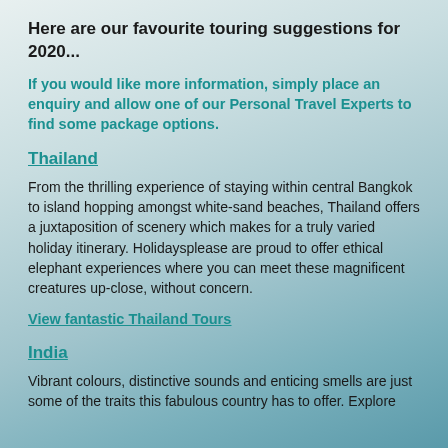Here are our favourite touring suggestions for 2020...
If you would like more information, simply place an enquiry and allow one of our Personal Travel Experts to find some package options.
Thailand
From the thrilling experience of staying within central Bangkok to island hopping amongst white-sand beaches, Thailand offers a juxtaposition of scenery which makes for a truly varied holiday itinerary. Holidaysplease are proud to offer ethical elephant experiences where you can meet these magnificent creatures up-close, without concern.
View fantastic Thailand Tours
India
Vibrant colours, distinctive sounds and enticing smells are just some of the traits this fabulous country has to offer. Explore